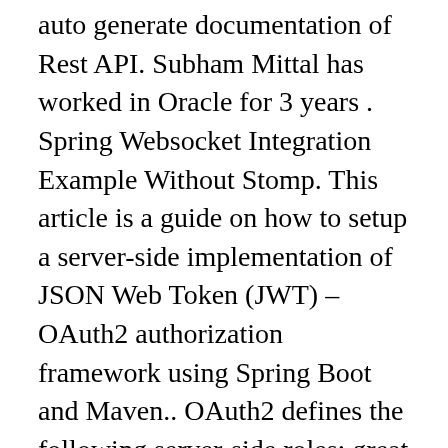auto generate documentation of Rest API. Subham Mittal has worked in Oracle for 3 years . Spring Websocket Integration Example Without Stomp. This article is a guide on how to setup a server-side implementation of JSON Web Token (JWT) – OAuth2 authorization framework using Spring Boot and Maven.. OAuth2 defines the following server-side roles: great article mate. 7.2 Swagger and Spring Security. Second, if we make a change to the specification (and changes happen all the time), we'd have to copy-and-paste the files that were changed manually. Spring Boot example we had exposed a REST API . Spring Boot Mvc Example. For all the advanced tutorials you